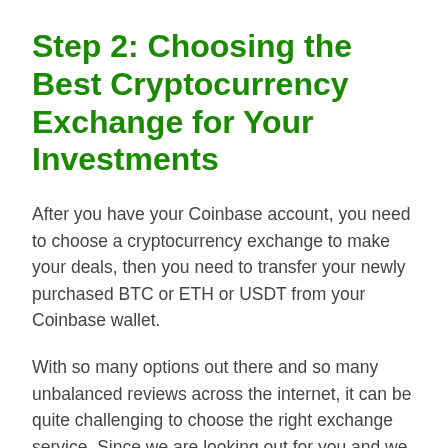Step 2: Choosing the Best Cryptocurrency Exchange for Your Investments
After you have your Coinbase account, you need to choose a cryptocurrency exchange to make your deals, then you need to transfer your newly purchased BTC or ETH or USDT from your Coinbase wallet.
With so many options out there and so many unbalanced reviews across the internet, it can be quite challenging to choose the right exchange service. Since we are looking out for you and we are interested in making you win money as well, we have taken the liberty of picking ten of the best ranking exchanges you can contact on the internet. For the sake of